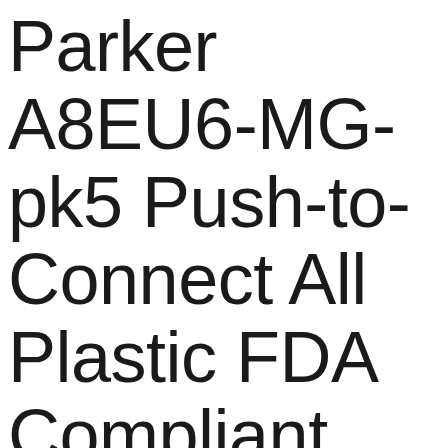Parker A8EU6-MG-pk5 Push-to-Connect All Plastic FDA Compliant Fitting 1/2